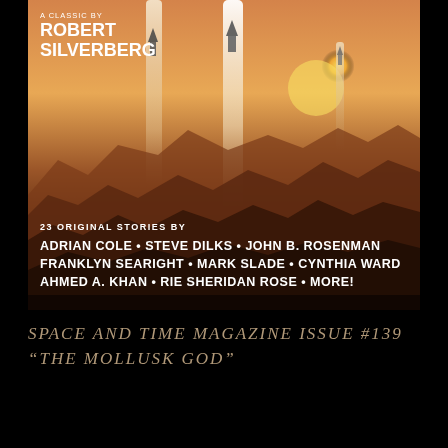[Figure (illustration): Cover of Space and Time Magazine Issue #139 showing a science fiction scene with rockets launching on an alien/Mars-like landscape with mountains silhouetted against an orange sky, author names listed at bottom including Adrian Cole, Steve Dilks, John B. Rosenman, Franklyn Searight, Mark Slade, Cynthia Ward, Ahmed A. Khan, Rie Sheridan Rose, and more. Text at top reads 'A Classic by Robert Silverberg'. Bottom text lists '23 Original Stories By' followed by author names.]
SPACE AND TIME MAGAZINE ISSUE #139 "THE MOLLUSK GOD"